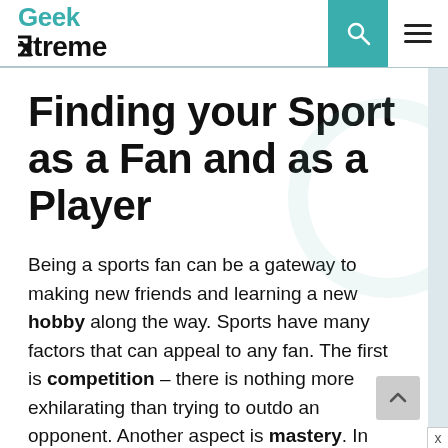Geek Extreme
Finding your Sport as a Fan and as a Player
Being a sports fan can be a gateway to making new friends and learning a new hobby along the way. Sports have many factors that can appeal to any fan. The first is competition – there is nothing more exhilarating than trying to outdo an opponent. Another aspect is mastery. In